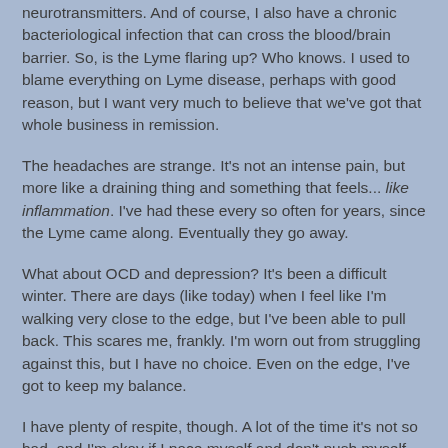neurotransmitters. And of course, I also have a chronic bacteriological infection that can cross the blood/brain barrier. So, is the Lyme flaring up? Who knows. I used to blame everything on Lyme disease, perhaps with good reason, but I want very much to believe that we've got that whole business in remission.
The headaches are strange. It's not an intense pain, but more like a draining thing and something that feels... like inflammation. I've had these every so often for years, since the Lyme came along. Eventually they go away.
What about OCD and depression? It's been a difficult winter. There are days (like today) when I feel like I'm walking very close to the edge, but I've been able to pull back. This scares me, frankly. I'm worn out from struggling against this, but I have no choice. Even on the edge, I've got to keep my balance.
I have plenty of respite, though. A lot of the time it's not so bad, and I'm okay if I pace myself and don't push myself too hard (or get too lazy). Sometimes, however, life pushes, and